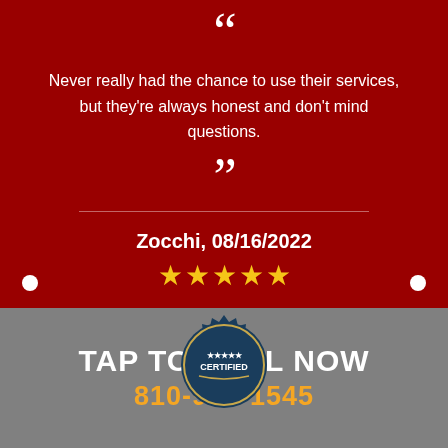Never really had the chance to use their services, but they're always honest and don't mind questions.
Zocchi, 08/16/2022
[Figure (infographic): Five yellow stars rating]
[Figure (infographic): Certified badge logo overlaid on phone number section]
TAP TO CALL NOW
810-984-1545